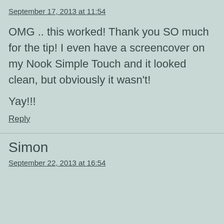September 17, 2013 at 11:54
OMG .. this worked! Thank you SO much for the tip! I even have a screencover on my Nook Simple Touch and it looked clean, but obviously it wasn't!
Yay!!!
Reply
Simon
September 22, 2013 at 16:54